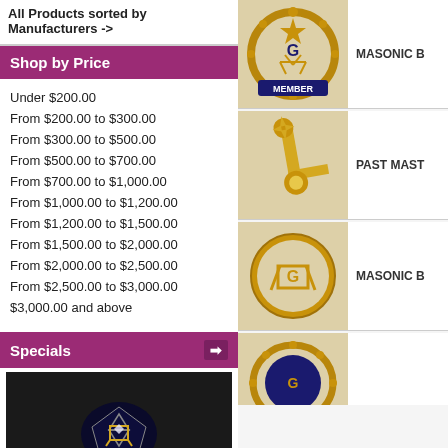All Products sorted by Manufacturers ->
Shop by Price
Under $200.00
From $200.00 to $300.00
From $300.00 to $500.00
From $500.00 to $700.00
From $700.00 to $1,000.00
From $1,000.00 to $1,200.00
From $1,200.00 to $1,500.00
From $1,500.00 to $2,000.00
From $2,000.00 to $2,500.00
From $2,500.00 to $3,000.00
$3,000.00 and above
Specials
[Figure (photo): Gold Masonic ring with black stone and square and compass emblem with diamond]
[Figure (photo): Gold Masonic Member badge/pin with wreath and blue enamel MEMBER banner]
MASONIC B
[Figure (photo): Gold Past Master Masonic pin with square, compass and sun symbol]
PAST MAST
[Figure (photo): Gold Masonic pin with round frame, square and compass with G]
MASONIC B
[Figure (photo): Gold Masonic lapel pin with wreath border and blue enamel, partial view]